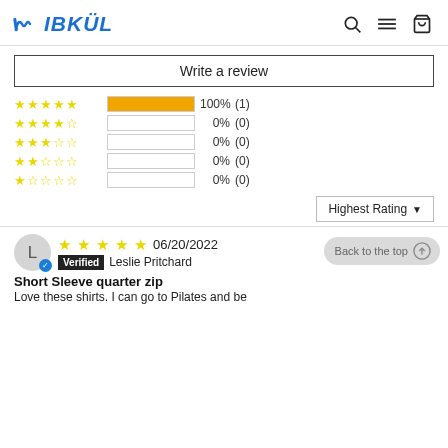IBKÜL
Write a review
[Figure (infographic): Rating bar chart showing 5-star: 100% (1), 4-star: 0% (0), 3-star: 0% (0), 2-star: 0% (0), 1-star: 0% (0)]
Highest Rating ▼
06/20/2022 Verified Leslie Pritchard
Short Sleeve quarter zip
Love these shirts. I can go to Pilates and be